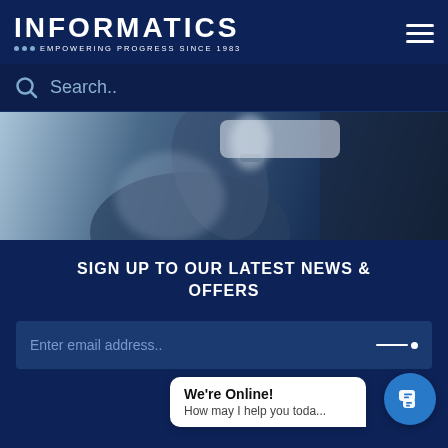[Figure (logo): Informatics logo with text INFORMATICS and tagline EMPOWERING PROGRESS SINCE 1983 with three dots, on dark navy background. Hamburger menu icon top right.]
Search..
[Figure (photo): Close-up photo of a person in a suit, blurred background, blue tones.]
SIGN UP TO OUR LATEST NEWS & OFFERS
Enter email address..
We're Online!
How may I help you toda...
CONNECT WITH US